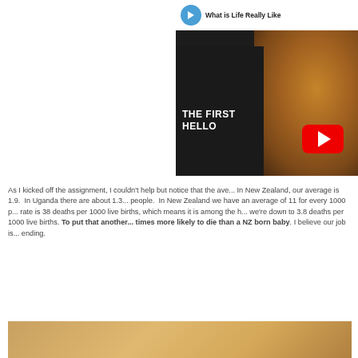[Figure (screenshot): YouTube video thumbnail showing a smiling baby being held, with title 'What is Life Really Like' partially visible. The thumbnail shows 'THE FIRST HELLO' text overlay and a YouTube play button.]
As I kicked off the assignment, I couldn't help but notice that the ave... In New Zealand, our average is 1.9.  In Uganda there are about 1.3... people.  In New Zealand we have an average of 11 for every 1000 p... rate is 38 deaths per 1000 live births, which means it is among the h... we're down to 3.8 deaths per 1000 live births. To put that another... times more likely to die than a NZ born baby. I believe our job is... ending.
[Figure (photo): Partial bottom image showing a warm-toned photo, cropped at page bottom.]